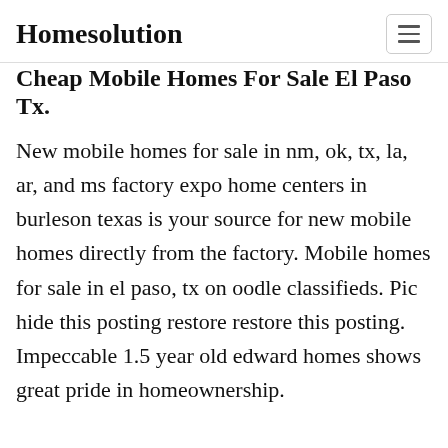Homesolution
Cheap Mobile Homes For Sale El Paso Tx.
New mobile homes for sale in nm, ok, tx, la, ar, and ms factory expo home centers in burleson texas is your source for new mobile homes directly from the factory. Mobile homes for sale in el paso, tx on oodle classifieds. Pic hide this posting restore restore this posting. Impeccable 1.5 year old edward homes shows great pride in homeownership.